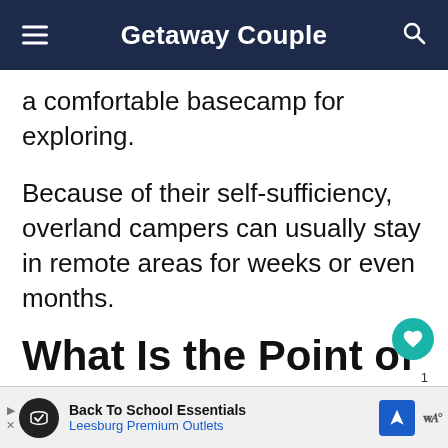Getaway Couple
a comfortable basecamp for exploring.
Because of their self-sufficiency, overland campers can usually stay in remote areas for weeks or even months.
What Is the Point of
[Figure (screenshot): Advertisement banner: Back To School Essentials - Leesburg Premium Outlets with navigation icon and brand logo]